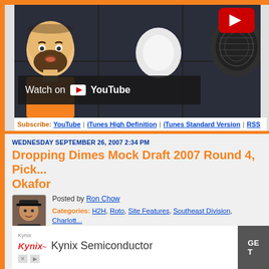[Figure (screenshot): YouTube video thumbnail showing a cartoon avatar of a bald man with beard wearing orange shirt, alongside a microphone on dark background, with Watch on YouTube overlay bar and a red YouTube play button icon in top right]
Subscribe: YouTube | iTunes High Definition | iTunes Standard Version | RSS
Dropping Dimes Mock Draft 2007 Round 4, Pick ... Okafor
WEDNESDAY SEPTEMBER 26, 2007 2:34 PM
Posted by Ron Chow
Categories: H2H, Roto, Site Features, Southeast Division, Charlotte... Talent,
[Figure (photo): Small author avatar photo of Ron Chow wearing a cap, smiling]
[Figure (other): Kynix Semiconductor advertisement banner with Kynix logo and GET button]